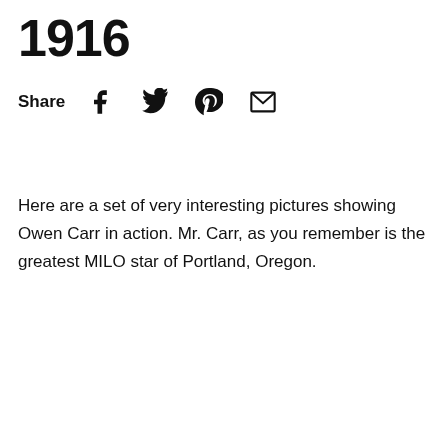1916
Share
Here are a set of very interesting pictures showing Owen Carr in action. Mr. Carr, as you remember is the greatest MILO star of Portland, Oregon.